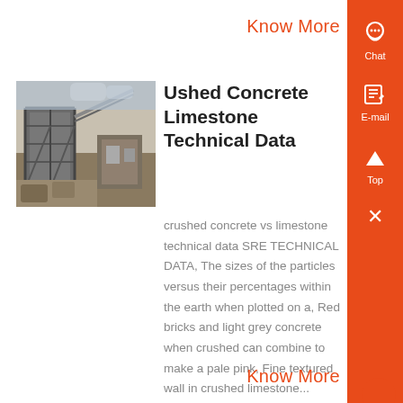Know More
[Figure (photo): Industrial plant or quarry facility with machinery and metal structures]
Ushed Concrete Limestone Technical Data
crushed concrete vs limestone technical data SRE TECHNICAL DATA, The sizes of the particles versus their percentages within the earth when plotted on a, Red bricks and light grey concrete when crushed can combine to make a pale pink, Fine textured wall in crushed limestone...
Know More